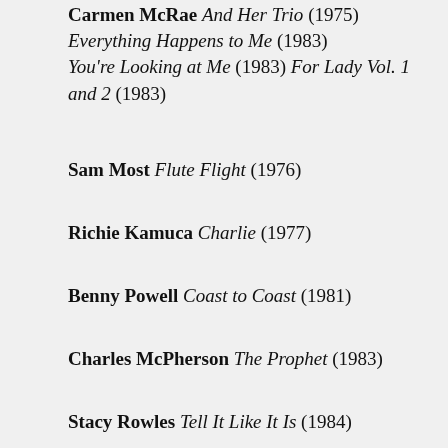Carmen McRae And Her Trio (1975) Everything Happens to Me (1983) You're Looking at Me (1983) For Lady Vol. 1 and 2 (1983)
Sam Most Flute Flight (1976)
Richie Kamuca Charlie (1977)
Benny Powell Coast to Coast (1981)
Charles McPherson The Prophet (1983)
Stacy Rowles Tell It Like It Is (1984)
Frank Wess and Johnny Coles Two at the...